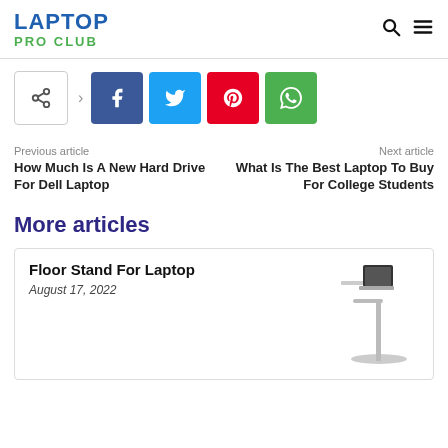LAPTOP PRO CLUB
[Figure (infographic): Social share buttons: share icon, Facebook, Twitter, Pinterest, WhatsApp]
Previous article
How Much Is A New Hard Drive For Dell Laptop
Next article
What Is The Best Laptop To Buy For College Students
More articles
Floor Stand For Laptop
August 17, 2022
[Figure (photo): Photo of a floor stand for laptop — white adjustable standing desk with a laptop on it]